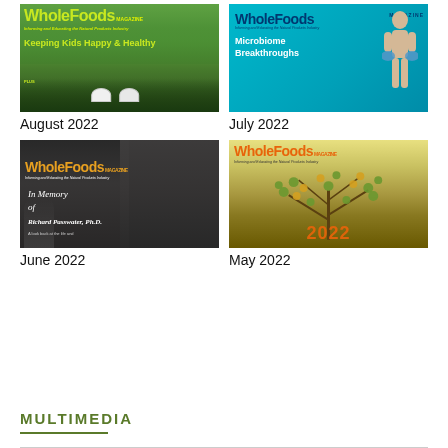[Figure (photo): WholeFoods Magazine August 2022 cover – green mountain background with children in hats, headline 'Keeping Kids Happy & Healthy']
August 2022
[Figure (photo): WholeFoods Magazine July 2022 cover – teal background with wooden mannequin holding blue shapes, headline 'Microbiome Breakthroughs']
July 2022
[Figure (photo): WholeFoods Magazine June 2022 cover – black and white collage memorial issue 'In Memory of Richard Passwater, Ph.D.']
June 2022
[Figure (photo): WholeFoods Magazine May 2022 cover – yellow-green lemon/citrus tree with orange WholeFoods logo and year 2022]
May 2022
MULTIMEDIA